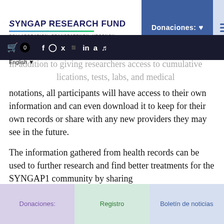SynGAP Research Fund — Collaboration. Transparency. Urgency.
[Figure (screenshot): Navigation bar with cart icon, badge showing 0, and social media icons (Facebook, Instagram, Twitter, YouTube, LinkedIn, Amazon, TikTok) on dark background]
In addition to giving researchers access to cumulative medications, tests, labs, and medical notations, all participants will have access to their own information and can even download it to keep for their own records or share with any new providers they may see in the future.
The information gathered from health records can be used to further research and find better treatments for the SYNGAP1 community by sharing
have free access (with IRB approval)
Donaciones: | Registro | Boletín de noticias